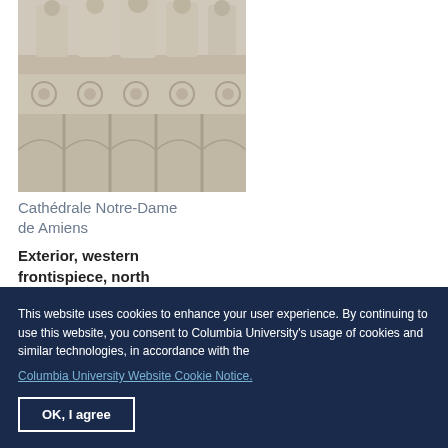[Figure (photo): Photograph of stone statues on the exterior of Cathédrale Notre-Dame de Amiens, showing medieval carved figures and decorative reliefs on the western frontispiece north portal]
Cathédrale Notre-Dame de Amiens
Exterior, western frontispiece, north portal
This website uses cookies to enhance your user experience. By continuing to use this website, you consent to Columbia University's usage of cookies and similar technologies, in accordance with the
Columbia University Website Cookie Notice.
OK, I agree